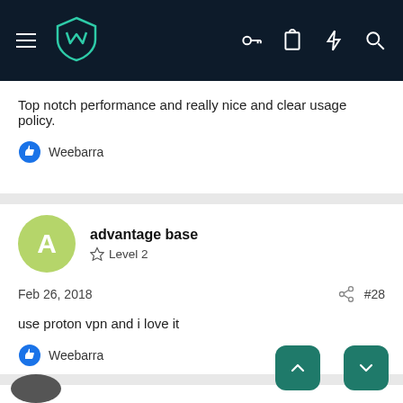[Figure (screenshot): Mobile app header with hamburger menu, teal shield logo, and icons for key, clipboard, lightning, and search on dark navy background]
Top notch performance and really nice and clear usage policy.
Weebarra
advantage base
Level 2
Feb 26, 2018
#28
use proton vpn and i love it
Weebarra